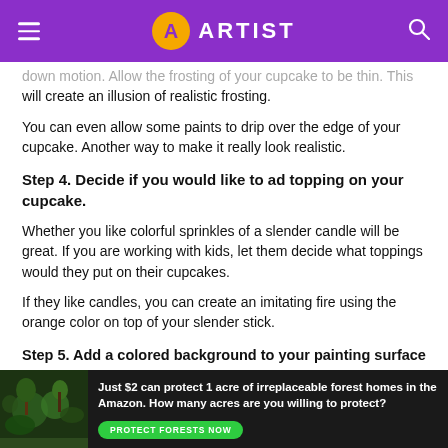ARTIST
down motion. Allow the frosting of your cupcake to be thin. This will create an illusion of realistic frosting.
You can even allow some paints to drip over the edge of your cupcake. Another way to make it really look realistic.
Step 4. Decide if you would like to ad topping on your cupcake.
Whether you like colorful sprinkles of a slender candle will be great. If you are working with kids, let them decide what toppings would they put on their cupcakes.
If they like candles, you can create an imitating fire using the orange color on top of your slender stick.
Step 5. Add a colored background to your painting surface
[Figure (infographic): Advertisement banner: Just $2 can protect 1 acre of irreplaceable forest homes in the Amazon. How many acres are you willing to protect? PROTECT FORESTS NOW]